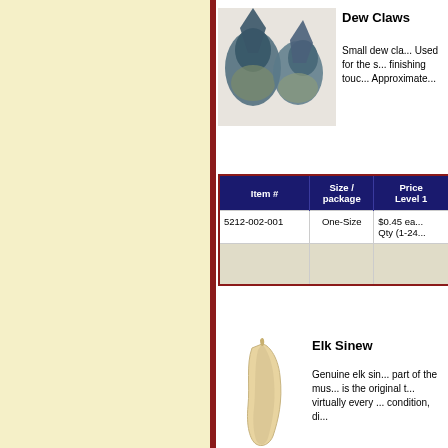[Figure (photo): Two small dark dew claws photographed on a light background]
Dew Claws
Small dew claws. Used for the s... finishing touc... Approximate...
| Item # | Size / package | Price Level 1 |
| --- | --- | --- |
| 5212-002-001 | One-Size | $0.45 ea... Qty (1-24... |
[Figure (photo): Elk sinew piece photographed on white background]
Elk Sinew
Genuine elk sin... part of the mus... is the original t... virtually every ... condition, di...